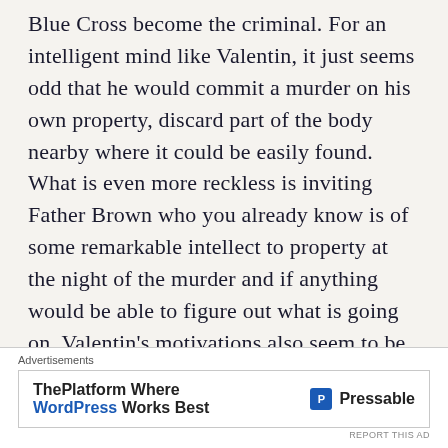Blue Cross become the criminal. For an intelligent mind like Valentin, it just seems odd that he would commit a murder on his own property, discard part of the body nearby where it could be easily found. What is even more reckless is inviting Father Brown who you already know is of some remarkable intellect to property at the night of the murder and if anything would be able to figure out what is going on. Valentin's motivations also seem to be a bit much to justify murder in my opinion.
In The Queer Feet, Flambeau tries to steal some
[Figure (other): Advertisements section with Pressable WordPress hosting ad]